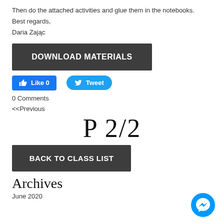Then do the attached activities and glue them in the notebooks.
Best regards,
Daria Zając
[Figure (other): Dark grey button labeled DOWNLOAD MATERIALS]
[Figure (other): Blue Facebook Like button showing Like 0 and blue Twitter Tweet button]
0 Comments
<<Previous
P 2/2
[Figure (other): Dark grey button labeled BACK TO CLASS LIST]
Archives
June 2020
[Figure (other): Blue Facebook Messenger floating chat button in bottom right corner]